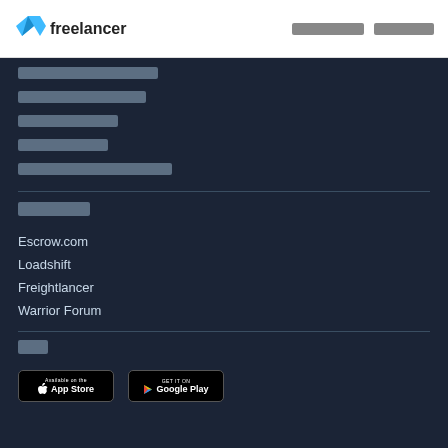Freelancer [nav links]
[Thai/CJK navigation link 1]
[Thai/CJK navigation link 2]
[Thai/CJK navigation link 3]
[Thai/CJK navigation link 4]
[Thai/CJK navigation link 5]
[Section header]
Escrow.com
Loadshift
Freightlancer
Warrior Forum
[App section header]
[Figure (screenshot): App Store and Google Play download buttons]